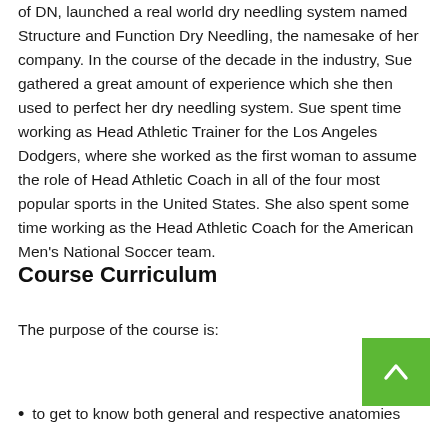of DN, launched a real world dry needling system named Structure and Function Dry Needling, the namesake of her company. In the course of the decade in the industry, Sue gathered a great amount of experience which she then used to perfect her dry needling system. Sue spent time working as Head Athletic Trainer for the Los Angeles Dodgers, where she worked as the first woman to assume the role of Head Athletic Coach in all of the four most popular sports in the United States. She also spent some time working as the Head Athletic Coach for the American Men’s National Soccer team.
Course Curriculum
The purpose of the course is:
to get to know both general and respective anatomies